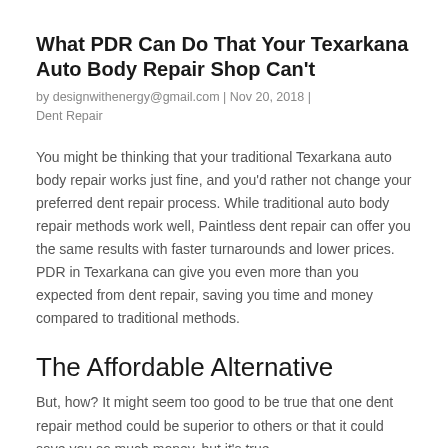What PDR Can Do That Your Texarkana Auto Body Repair Shop Can't
by designwithenergy@gmail.com | Nov 20, 2018 | Dent Repair
You might be thinking that your traditional Texarkana auto body repair works just fine, and you'd rather not change your preferred dent repair process. While traditional auto body repair methods work well, Paintless dent repair can offer you the same results with faster turnarounds and lower prices. PDR in Texarkana can give you even more than you expected from dent repair, saving you time and money compared to traditional methods.
The Affordable Alternative
But, how? It might seem too good to be true that one dent repair method could be superior to others or that it could save you so much money, but it's true.